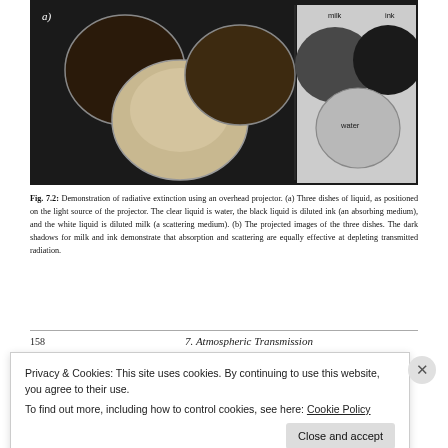[Figure (photo): Two-panel photograph (a) and (b). Panel (a) shows three dishes of liquid (water, diluted ink, diluted milk) viewed from above on a projector light source against a dark background. Panel (b) shows the projected images of the three dishes labeled 'milk', 'ink', and 'water', showing dark shadows for all three liquids.]
Fig. 7.2: Demonstration of radiative extinction using an overhead projector. (a) Three dishes of liquid, as positioned on the light source of the projector. The clear liquid is water, the black liquid is diluted ink (an absorbing medium), and the white liquid is diluted milk (a scattering medium). (b) The projected images of the three dishes. The dark shadows for milk and ink demonstrate that absorption and scattering are equally effective at depleting transmitted radiation.
158     7. Atmospheric Transmission
Privacy & Cookies: This site uses cookies. By continuing to use this website, you agree to their use.
To find out more, including how to control cookies, see here: Cookie Policy
Close and accept